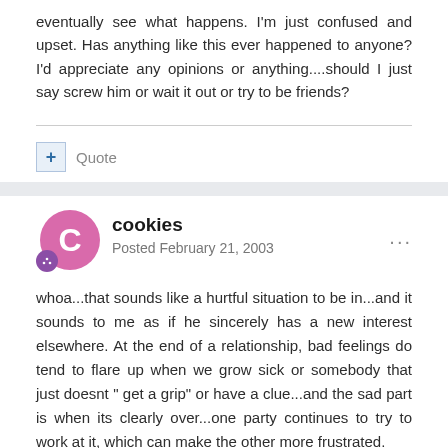eventually see what happens. I'm just confused and upset. Has anything like this ever happened to anyone? I'd appreciate any opinions or anything....should I just say screw him or wait it out or try to be friends?
Quote
cookies
Posted February 21, 2003
whoa...that sounds like a hurtful situation to be in...and it sounds to me as if he sincerely has a new interest elsewhere. At the end of a relationship, bad feelings do tend to flare up when we grow sick or somebody that just doesnt " get a grip" or have a clue...and the sad part is when its clearly over...one party continues to try to work at it, which can make the other more frustrated.